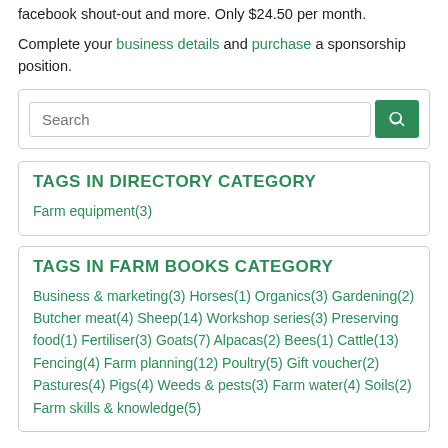facebook shout-out and more. Only $24.50 per month.
Complete your business details and purchase a sponsorship position.
Search
TAGS IN DIRECTORY CATEGORY
Farm equipment(3)
TAGS IN FARM BOOKS CATEGORY
Business & marketing(3) Horses(1) Organics(3) Gardening(2) Butcher meat(4) Sheep(14) Workshop series(3) Preserving food(1) Fertiliser(3) Goats(7) Alpacas(2) Bees(1) Cattle(13) Fencing(4) Farm planning(12) Poultry(5) Gift voucher(2) Pastures(4) Pigs(4) Weeds & pests(3) Farm water(4) Soils(2) Farm skills & knowledge(5)